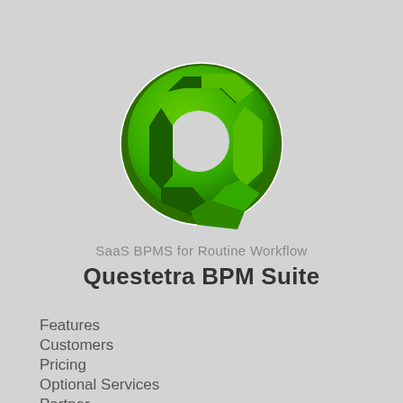[Figure (logo): Questetra BPM Suite circular arrow logo in green, resembling a Q shape with rotating arrows around a white circle]
SaaS BPMS for Routine Workflow
Questetra BPM Suite
Features
Customers
Pricing
Optional Services
Partner